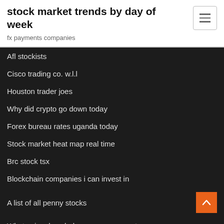stock market trends by day of week
fx payments companies
Afl stockists
Cisco trading co. w.l.l
Houston trader joes
Why did crypto go down today
Forex bureau rates uganda today
Stock market heat map real time
Brc stock tsx
Blockchain companies i can invest in
A list of all penny stocks
What coins does ledger nano s support